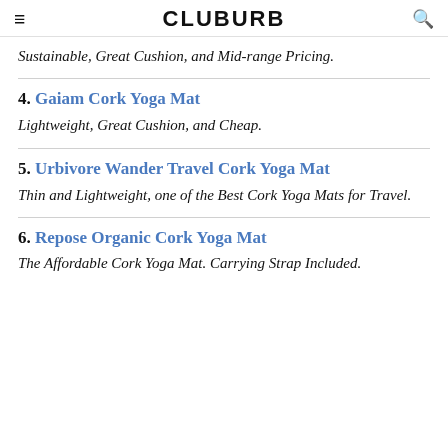CLUBURB
Sustainable, Great Cushion, and Mid-range Pricing.
4. Gaiam Cork Yoga Mat — Lightweight, Great Cushion, and Cheap.
5. Urbivore Wander Travel Cork Yoga Mat — Thin and Lightweight, one of the Best Cork Yoga Mats for Travel.
6. Repose Organic Cork Yoga Mat — The Affordable Cork Yoga Mat. Carrying Strap Included.